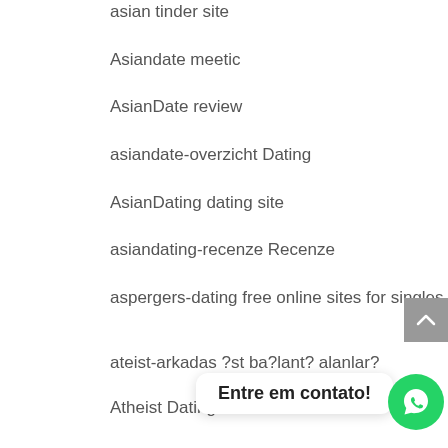asian tinder site
Asiandate meetic
AsianDate review
asiandate-overzicht Dating
AsianDating dating site
asiandating-recenze Recenze
aspergers-dating free online sites for singles
ateist-arkadas ?st ba?lant? alanlar?
Atheist Dating service
Atheist Dating username
Atheist Dating
athens escort
Entre em contato!